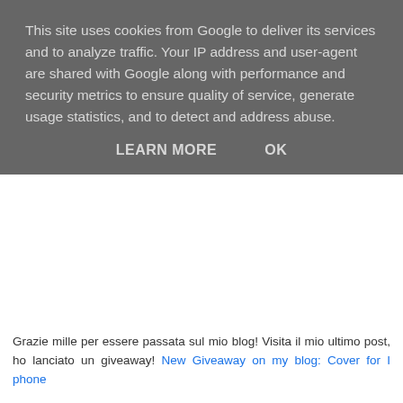This site uses cookies from Google to deliver its services and to analyze traffic. Your IP address and user-agent are shared with Google along with performance and security metrics to ensure quality of service, generate usage statistics, and to detect and address abuse.
LEARN MORE   OK
Grazie mille per essere passata sul mio blog! Visita il mio ultimo post, ho lanciato un giveaway! New Giveaway on my blog: Cover for I phone
Rispondi
Unknown 26 settembre 2013 20:34
Defenitely best way to make up your day. Love peplum style, and I´ve never seen it on a jacket, and it looks mad, love it.
Kisses

Fashion Avenue by Adriana
http://fashionavenueabc.blogspot.com.es/